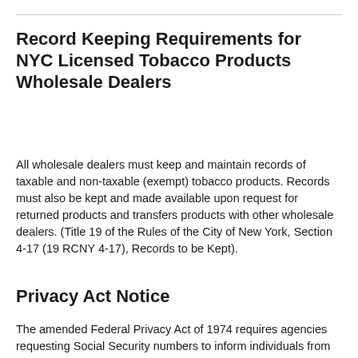Record Keeping Requirements for NYC Licensed Tobacco Products Wholesale Dealers
All wholesale dealers must keep and maintain records of taxable and non-taxable (exempt) tobacco products. Records must also be kept and made available upon request for returned products and transfers products with other wholesale dealers. (Title 19 of the Rules of the City of New York, Section 4-17 (19 RCNY 4-17), Records to be Kept).
Privacy Act Notice
The amended Federal Privacy Act of 1974 requires agencies requesting Social Security numbers to inform individuals from whom they seek information as to whether compliance is voluntary or mandatory, why the